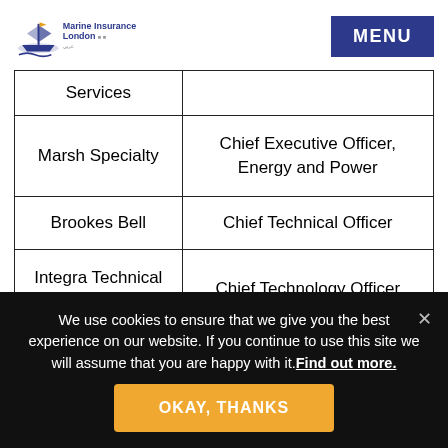Marine Insurance London | MENU
| Services |  |
| --- | --- |
| Marsh Specialty | Chief Executive Officer, Energy and Power |
| Brookes Bell | Chief Technical Officer |
| Integra Technical Services | Chief Technology Officer |
We use cookies to ensure that we give you the best experience on our website. If you continue to use this site we will assume that you are happy with it. Find out more.
OKAY, THANKS